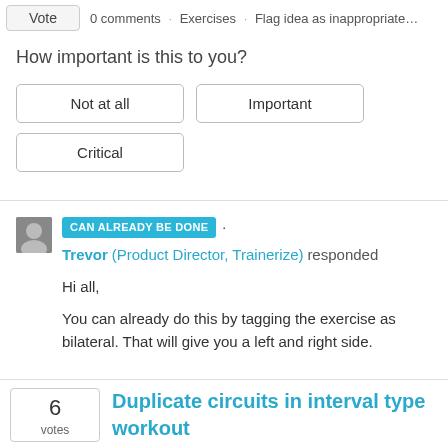Vote  ·  0 comments · Exercises · Flag idea as inappropriate...
How important is this to you?
Not at all
Important
Critical
CAN ALREADY BE DONE · Trevor (Product Director, Trainerize) responded
Hi all,
You can already do this by tagging the exercise as bilateral. That will give you a left and right side.
6 votes  Duplicate circuits in interval type workout